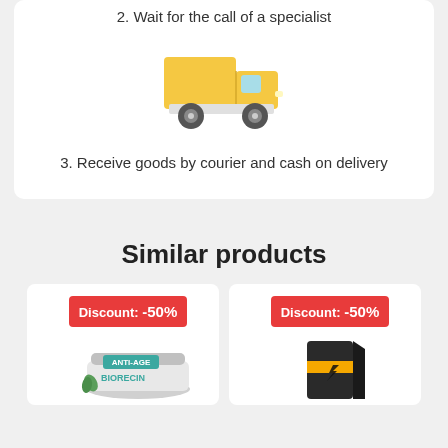2. Wait for the call of a specialist
[Figure (illustration): Yellow delivery truck emoji illustration]
3. Receive goods by courier and cash on delivery
Similar products
[Figure (photo): Product card with Discount -50% badge and BIORECIN ANTI-AGE cream product image]
[Figure (photo): Product card with Discount -50% badge and a dark product box image]